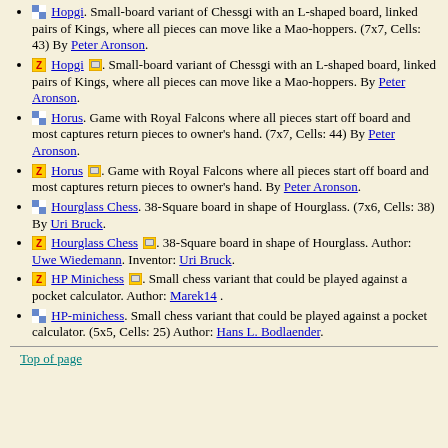Hopgi. Small-board variant of Chessgi with an L-shaped board, linked pairs of Kings, where all pieces can move like a Mao-hoppers. (7x7, Cells: 43) By Peter Aronson.
Hopgi. Small-board variant of Chessgi with an L-shaped board, linked pairs of Kings, where all pieces can move like a Mao-hoppers. By Peter Aronson.
Horus. Game with Royal Falcons where all pieces start off board and most captures return pieces to owner's hand. (7x7, Cells: 44) By Peter Aronson.
Horus. Game with Royal Falcons where all pieces start off board and most captures return pieces to owner's hand. By Peter Aronson.
Hourglass Chess. 38-Square board in shape of Hourglass. (7x6, Cells: 38) By Uri Bruck.
Hourglass Chess. 38-Square board in shape of Hourglass. Author: Uwe Wiedemann. Inventor: Uri Bruck.
HP Minichess. Small chess variant that could be played against a pocket calculator. Author: Marek14.
HP-minichess. Small chess variant that could be played against a pocket calculator. (5x5, Cells: 25) Author: Hans L. Bodlaender.
Top of page